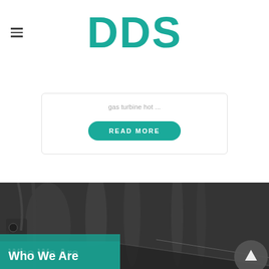DDS
gas turbine hot ...
READ MORE
[Figure (photo): Black and white industrial/engineering machinery photo showing gas turbine or mechanical equipment components]
Who We Are